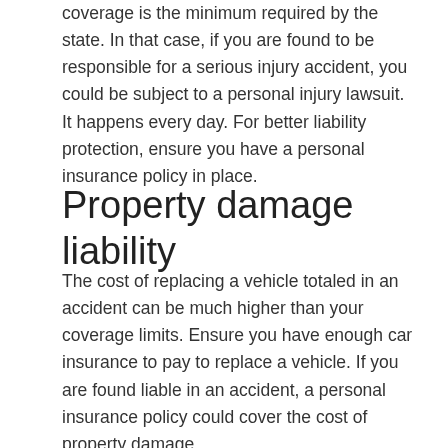coverage is the minimum required by the state. In that case, if you are found to be responsible for a serious injury accident, you could be subject to a personal injury lawsuit. It happens every day. For better liability protection, ensure you have a personal insurance policy in place.
Property damage liability
The cost of replacing a vehicle totaled in an accident can be much higher than your coverage limits. Ensure you have enough car insurance to pay to replace a vehicle. If you are found liable in an accident, a personal insurance policy could cover the cost of property damage.